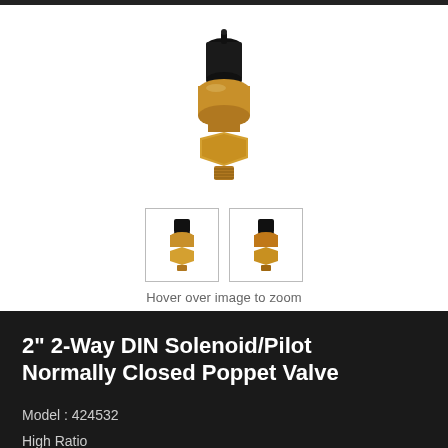[Figure (photo): Close-up photo of a brass 2-inch solenoid/pilot poppet valve with hex nut base and solenoid coil top, shown from above on white background]
[Figure (photo): Two small thumbnail images of the brass poppet valve from slightly different angles, each in a bordered square thumbnail box]
Hover over image to zoom
2" 2-Way DIN Solenoid/Pilot Normally Closed Poppet Valve
Model : 424532
High Ratio
For Air, Inert Gases, Or Vacuum Service